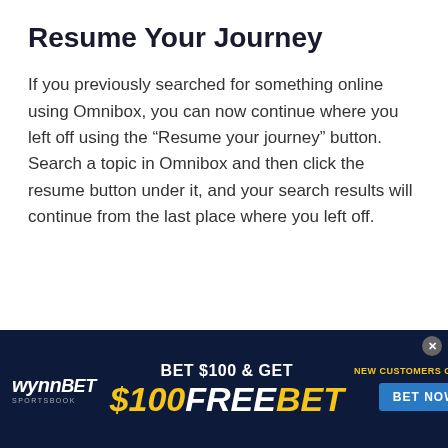Resume Your Journey
If you previously searched for something online using Omnibox, you can now continue where you left off using the “Resume your journey” button. Search a topic in Omnibox and then click the resume button under it, and your search results will continue from the last place where you left off.
[Figure (other): WynnBET Sportsbook advertisement banner: 'BET $100 & GET $100 FREE BET — NEW CUSTOMERS ONLY — BET NOW']